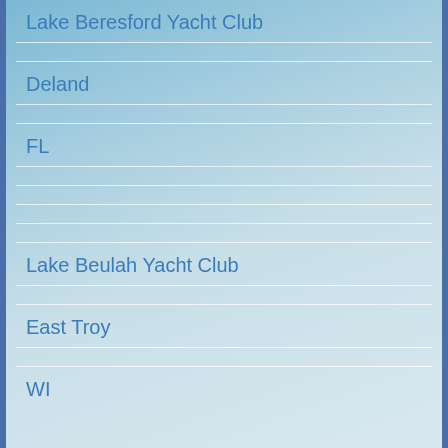Lake Beresford Yacht Club
Deland
FL
Lake Beulah Yacht Club
East Troy
WI
Lake Bluff Yacht Club
Lake Bluff